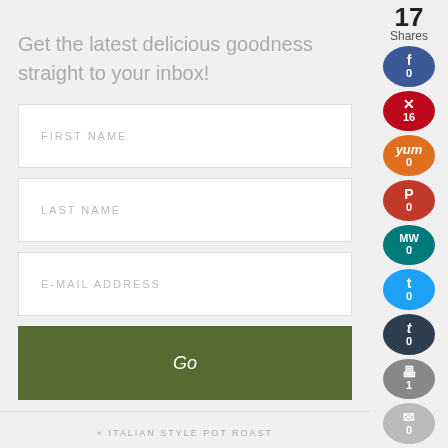Get the latest delicious goodness straight to your inbox!
FIRST NAME
LAST NAME
E-MAIL ADDRESS
Go
« ITALIAN STYLE POT ROAST
17 Shares
0 (Facebook)
16 (Pinterest)
0 (Yummly)
0 (Paprika)
0 (MW)
0 (Twitter)
0 (Tumblr)
1 (Print)
0 (Email)